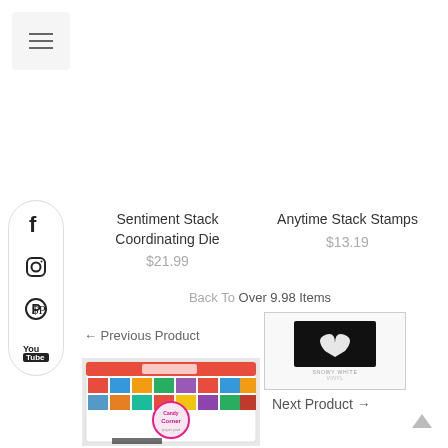≡
Sentiment Stack Coordinating Die
$21.99
Anytime Stack Stamps
$13.19
Back To Over 9.98 Items
← Previous Product
[Figure (photo): Small thumbnail showing Snowy White stamp product on dark background]
[Figure (photo): Colorful patterned paper pack product image - Candy Corner themed]
Next Product →